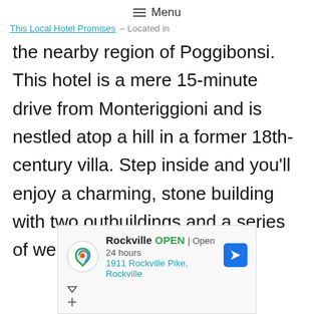≡ Menu
This Local Hotel Promises – Located in
the nearby region of Poggibonsi. This hotel is a mere 15-minute drive from Monteriggioni and is nestled atop a hill in a former 18th-century villa. Step inside and you'll enjoy a charming, stone building with two outbuildings and a series of well-appointed rooms that
[Figure (other): Advertisement box for Rockville showing logo, OPEN status, Open 24 hours, address 1911 Rockville Pike, Rockville, and a navigation arrow icon]